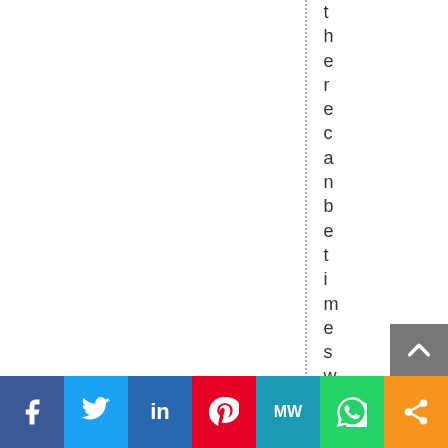therecanbe
times
when
weight
jus
[Figure (infographic): Social media sharing bar with Facebook, Twitter, LinkedIn, Pinterest, MW, WhatsApp, and share buttons]